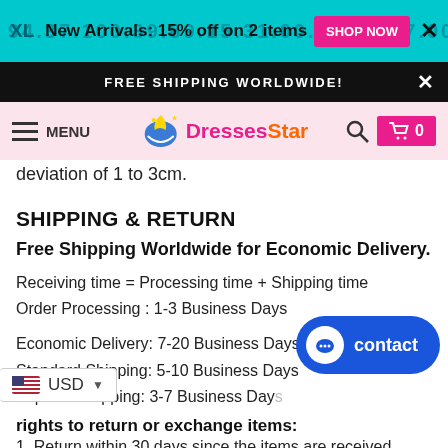New Arrivals: 15% off on 2 items  SHOP NOW
FREE SHIPPING WORLDWIDE!
MENU  DressesStar
deviation of 1 to 3cm.
SHIPPING & RETURN
Free Shipping Worldwide for Economic Delivery.
Receiving time = Processing time + Shipping time
Order Processing : 1-3 Business Days
Economic Delivery: 7-20 Business Days
Standard Shipping: 5-10 Business Days
Express Shipping: 3-7 Business Days
rights to return or exchange items:
1. Return within 30 days since the items are received